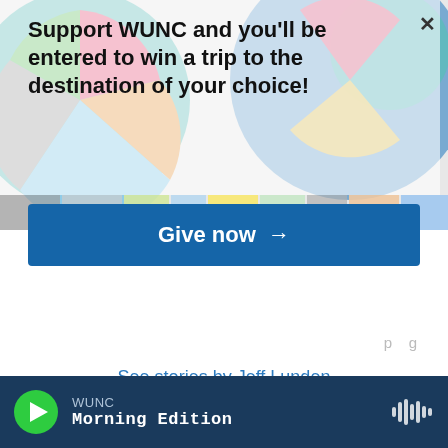[Figure (illustration): Colorful geometric circular background graphic with abstract shapes in teal, pink, orange, blue, green, and gray tones]
Support WUNC and you'll be entered to win a trip to the destination of your choice!
Give now →
See stories by Jeff Lunden
LATEST STORIES
WUNC
Morning Edition